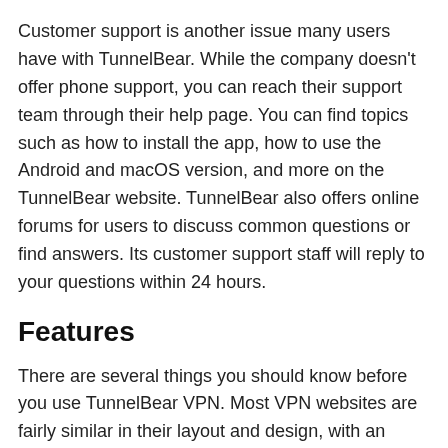Customer support is another issue many users have with TunnelBear. While the company doesn't offer phone support, you can reach their support team through their help page. You can find topics such as how to install the app, how to use the Android and macOS version, and more on the TunnelBear website. TunnelBear also offers online forums for users to discuss common questions or find answers. Its customer support staff will reply to your questions within 24 hours.
Features
There are several things you should know before you use TunnelBear VPN. Most VPN websites are fairly similar in their layout and design, with an introductory banner, a few panels listing features, and minimalist graphics. However, TunnelBear differs from the competition because it is packed with bears.